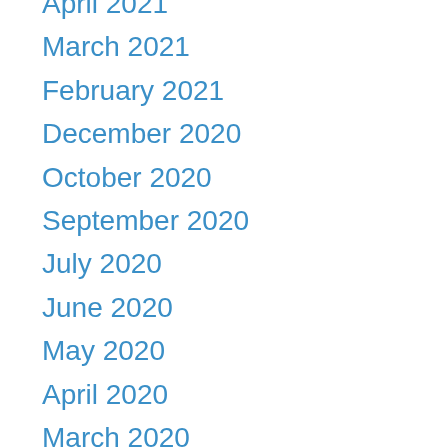April 2021
March 2021
February 2021
December 2020
October 2020
September 2020
July 2020
June 2020
May 2020
April 2020
March 2020
January 2020
December 2019
November 2019
October 2019